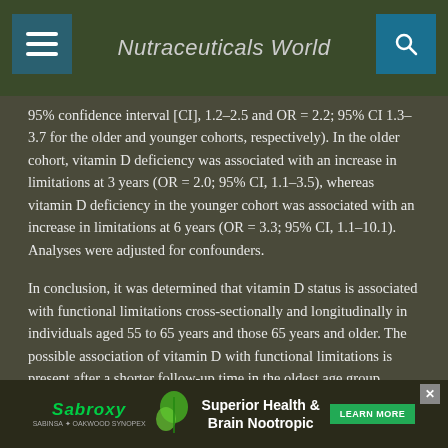Nutraceuticals World
95% confidence interval [CI], 1.2–2.5 and OR = 2.2; 95% CI 1.3–3.7 for the older and younger cohorts, respectively). In the older cohort, vitamin D deficiency was associated with an increase in limitations at 3 years (OR = 2.0; 95% CI, 1.1–3.5), whereas vitamin D deficiency in the younger cohort was associated with an increase in limitations at 6 years (OR = 3.3; 95% CI, 1.1–10.1). Analyses were adjusted for confounders.
In conclusion, it was determined that vitamin D status is associated with functional limitations cross-sectionally and longitudinally in individuals aged 55 to 65 years and those 65 years and older. The possible association of vitamin D with functional limitations is present after a shorter follow-up time in the oldest age group compared with the younger
[Figure (infographic): Advertisement banner for Sabroxy Superior Health & Brain Nootropic with green learn more button and close button]